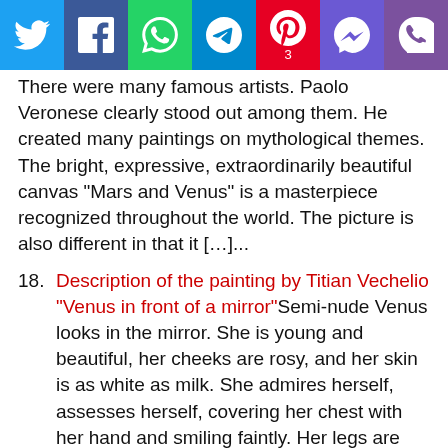[Figure (infographic): Social media share bar with icons: Twitter (blue), Facebook (dark blue), WhatsApp (green), Telegram (blue), Pinterest (red, count 3), Messenger (purple), Viber (purple)]
There were many famous artists. Paolo Veronese clearly stood out among them. He created many paintings on mythological themes. The bright, expressive, extraordinarily beautiful canvas “Mars and Venus” is a masterpiece recognized throughout the world. The picture is also different in that it […]...
18. Description of the painting by Titian Vechelio “Venus in front of a mirror”Semi-nude Venus looks in the mirror. She is young and beautiful, her cheeks are rosy, and her skin is as white as milk. She admires herself, assesses herself, covering her chest with her hand and smiling faintly. Her legs are covered with a scarlet cape with a fur edge, there are bracelets on her hands, […]...
19. Description of the painting by Titian Vecellio “Feast